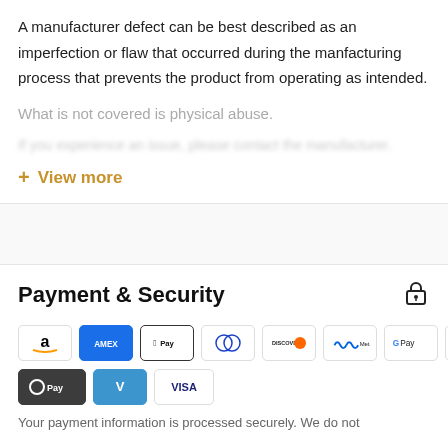A manufacturer defect can be best described as an imperfection or flaw that occurred during the manfacturing process that prevents the product from operating as intended.
What is not covered is physical abuse.
(blurred/redacted text line)
+ View more
Payment & Security
[Figure (other): Payment method icons: Amazon Pay, American Express, Apple Pay, Diners Club, Discover, Meta Pay, Google Pay, Mastercard, PayPal, OPay, Venmo, Visa]
(bottom text partially visible)